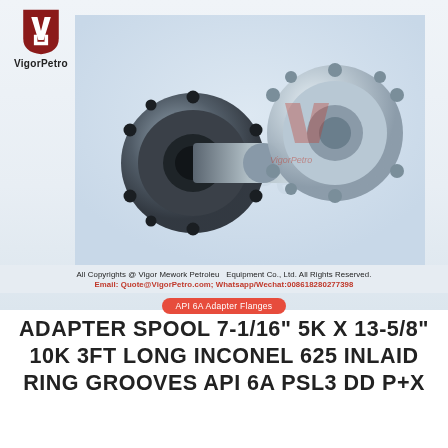[Figure (photo): VigorPetro logo in top-left corner: red shield with white stylized 'V/F' mark, with 'VigorPetro' text below]
[Figure (photo): Product photo of an adapter spool / flange spool assembly: two circular flanges (one dark/black, one silver/polished steel) connected by a short pipe spool, shown at an angle on a light blue-grey background with faint VigorPetro watermark logo and Chinese characters watermark]
All Copyrights @ Vigor Mework Petroleum Equipment Co., Ltd. All Rights Reserved.
Email: Quote@VigorPetro.com; Whatsapp/Wechat:008618280277398
API 6A Adapter Flanges
ADAPTER SPOOL 7-1/16" 5K X 13-5/8" 10K 3FT LONG INCONEL 625 INLAID RING GROOVES API 6A PSL3 DD P+X